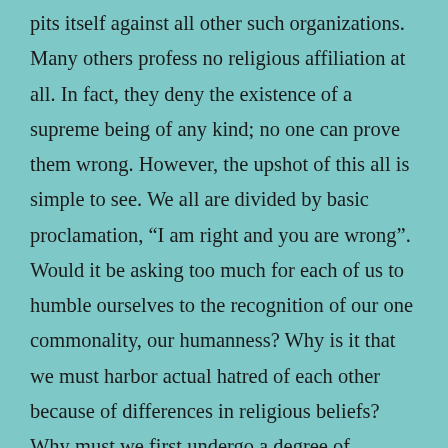pits itself against all other such organizations. Many others profess no religious affiliation at all. In fact, they deny the existence of a supreme being of any kind; no one can prove them wrong. However, the upshot of this all is simple to see. We all are divided by basic proclamation, “I am right and you are wrong”. Would it be asking too much for each of us to humble ourselves to the recognition of our one commonality, our humanness? Why is it that we must harbor actual hatred of each other because of differences in religious beliefs? Why must we first undergo a degree of indoctrination and ritualistic enrollment if we choose to accept a different religious viewpoint? Why do some megachurches require review of a person’s income tax return before admission is granted. (I will admit that I personally know of no such instance, but have heard